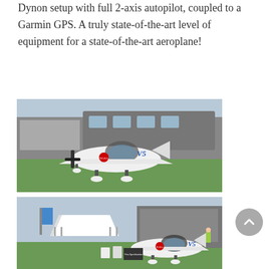Dynon setup with full 2-axis autopilot, coupled to a Garmin GPS. A truly state-of-the-art level of equipment for a state-of-the-art aeroplane!
[Figure (photo): White light sport aircraft parked on grass at an airshow, with a large RV/motorhome and trailers visible in the background.]
[Figure (photo): White light sport aircraft at an airshow display area with a white tent/canopy, banner flags, display signs, and people in background.]